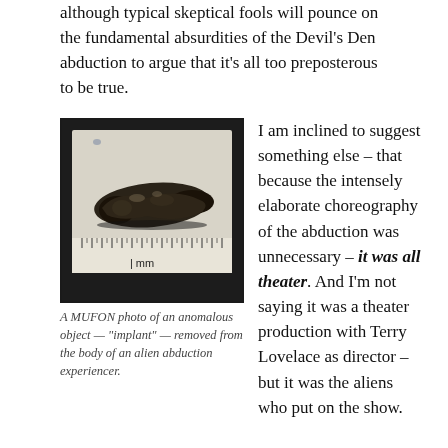although typical skeptical fools will pounce on the fundamental absurdities of the Devil's Den abduction to argue that it's all too preposterous to be true.
[Figure (photo): A black and white MUFON photo of an anomalous dark organic-shaped object placed on a ruler showing millimeter markings. The object resembles a small elongated creature or implant.]
A MUFON photo of an anomalous object — "implant" — removed from the body of an alien abduction experiencer.
I am inclined to suggest something else – that because the intensely elaborate choreography of the abduction was unnecessary – it was all theater. And I'm not saying it was a theater production with Terry Lovelace as director – but it was the aliens who put on the show.